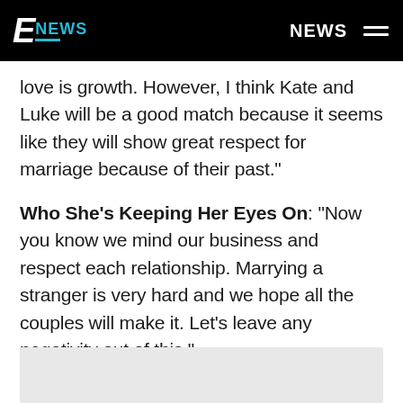E NEWS | NEWS
love is growth. However, I think Kate and Luke will be a good match because it seems like they will show great respect for marriage because of their past."
Who She's Keeping Her Eyes On: "Now you know we mind our business and respect each relationship. Marrying a stranger is very hard and we hope all the couples will make it. Let's leave any negativity out of this."
[Figure (other): Gray advertisement or image placeholder block at the bottom of the page]